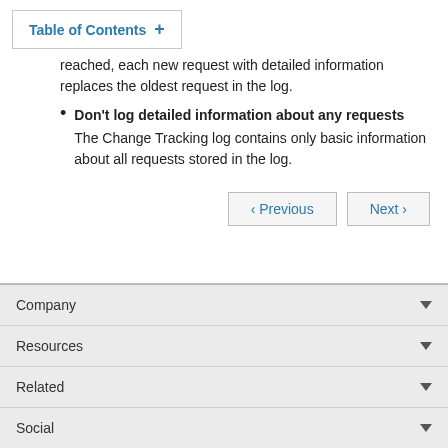Table of Contents +
reached, each new request with detailed information replaces the oldest request in the log.
Don't log detailed information about any requests The Change Tracking log contains only basic information about all requests stored in the log.
< Previous   Next >
Company
Resources
Related
Social